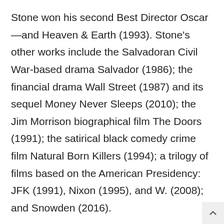Stone won his second Best Director Oscar—and Heaven & Earth (1993). Stone's other works include the Salvadoran Civil War-based drama Salvador (1986); the financial drama Wall Street (1987) and its sequel Money Never Sleeps (2010); the Jim Morrison biographical film The Doors (1991); the satirical black comedy crime film Natural Born Killers (1994); a trilogy of films based on the American Presidency: JFK (1991), Nixon (1995), and W. (2008); and Snowden (2016).
Many of Stone's films focus on controversial American political issues during the late 20th century, and as such were considered contentious at the times of their releases. They often combine